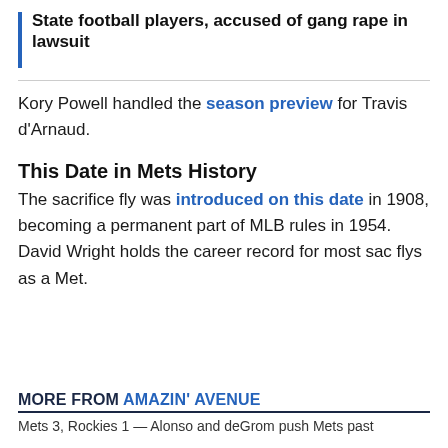State football players, accused of gang rape in lawsuit
Kory Powell handled the season preview for Travis d'Arnaud.
This Date in Mets History
The sacrifice fly was introduced on this date in 1908, becoming a permanent part of MLB rules in 1954. David Wright holds the career record for most sac flys as a Met.
MORE FROM AMAZIN' AVENUE
Mets 3, Rockies 1 — Alonso and deGrom push Mets past